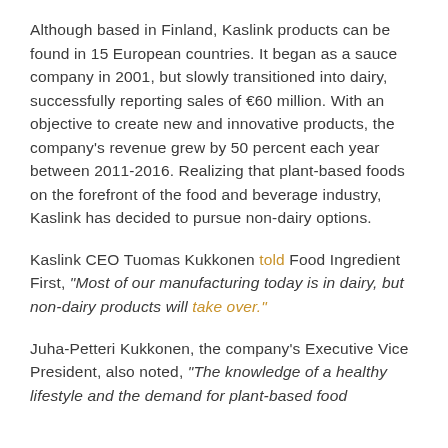Although based in Finland, Kaslink products can be found in 15 European countries. It began as a sauce company in 2001, but slowly transitioned into dairy, successfully reporting sales of €60 million. With an objective to create new and innovative products, the company's revenue grew by 50 percent each year between 2011-2016. Realizing that plant-based foods on the forefront of the food and beverage industry, Kaslink has decided to pursue non-dairy options.
Kaslink CEO Tuomas Kukkonen told Food Ingredient First, "Most of our manufacturing today is in dairy, but non-dairy products will take over."
Juha-Petteri Kukkonen, the company's Executive Vice President, also noted, "The knowledge of a healthy lifestyle and the demand for plant-based food